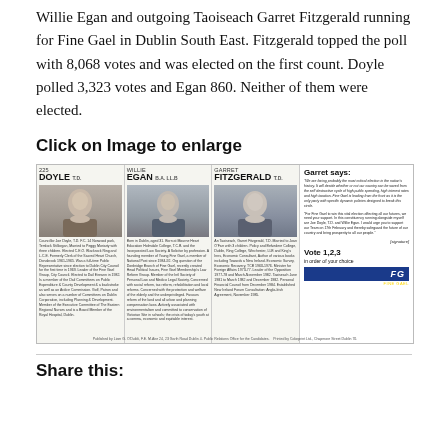Willie Egan and outgoing Taoiseach Garret Fitzgerald running for Fine Gael in Dublin South East. Fitzgerald topped the poll with 8,068 votes and was elected on the first count. Doyle polled 3,323 votes and Egan 860. Neither of them were elected.
Click on Image to enlarge
[Figure (photo): Fine Gael election leaflet showing candidate cards for Doyle T.D., Willie Egan B.A. LLB, and Garret Fitzgerald T.D., with a 'Garret says:' panel on the right and Fine Gael branding, urging Vote 1,2,3 in order of your choice.]
Share this: